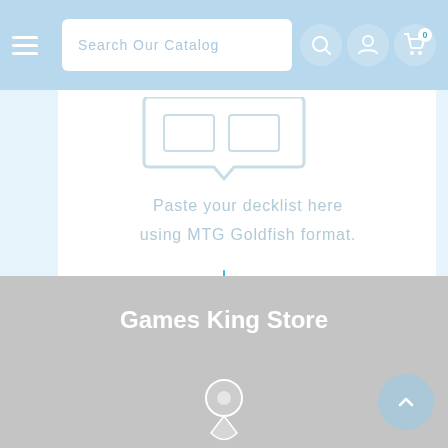Search Our Catalog
Paste your decklist here using MTG Goldfish format.
Games King Store